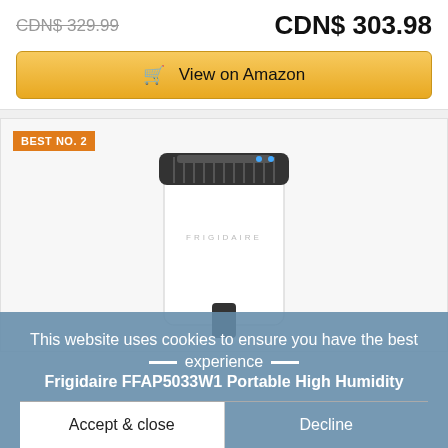CDN$ 329.99 (strikethrough) / CDN$ 303.98
View on Amazon
[Figure (photo): Frigidaire white dehumidifier with dark top panel, FRIGIDAIRE branding on front, and black handle at bottom]
BEST NO. 2
This website uses cookies to ensure you have the best experience
Frigidaire FFAP5033W1 Portable High Humidity
Accept & close
Decline